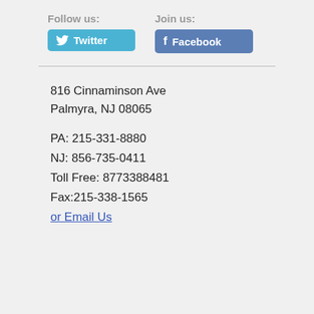Follow us:
Join us:
Twitter
Facebook
816 Cinnaminson Ave
Palmyra, NJ 08065

PA: 215-331-8880
NJ: 856-735-0411
Toll Free: 8773388481
Fax:215-338-1565
or Email Us